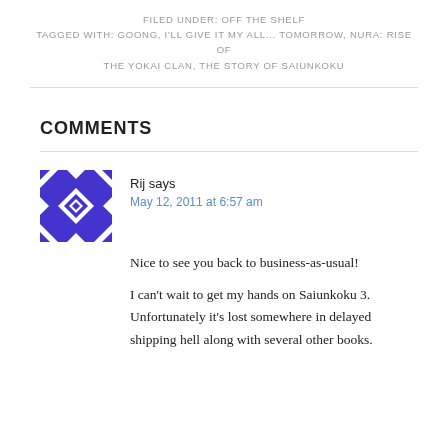FILED UNDER: OFF THE SHELF
TAGGED WITH: GOONG, I'LL GIVE IT MY ALL... TOMORROW, NURA: RISE OF THE YOKAI CLAN, THE STORY OF SAIUNKOKU
COMMENTS
[Figure (illustration): User avatar: blue and white geometric quilt-pattern square icon for commenter Rij]
Rij says
May 12, 2011 at 6:57 am
Nice to see you back to business-as-usual!
I can't wait to get my hands on Saiunkoku 3. Unfortunately it's lost somewhere in delayed shipping hell along with several other books.